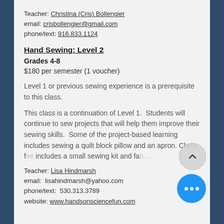Teacher: Christina (Cris) Bollengier
email: crisbollengier@gmail.com
phone/text: 916.833.1124
Hand Sewing: Level 2
Grades 4-8
$180 per semester (1 voucher)
Level 1 or previous sewing experience is a prerequisite to this class.
This class is a continuation of Level 1.  Students will continue to sew projects that will help them improve their sewing skills.  Some of the project-based learning includes sewing a quilt block pillow and an apron. Class fee includes a small sewing kit and fab…
Teacher: Lisa Hindmarsh
email: lisahindmarsh@yahoo.com
phone/text: 530.313.3789
website: www.handsonsciencefun.com